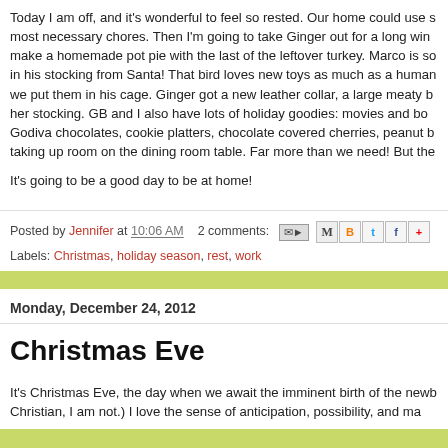Today I am off, and it's wonderful to feel so rested. Our home could use some most necessary chores. Then I'm going to take Ginger out for a long win make a homemade pot pie with the last of the leftover turkey. Marco is so in his stocking from Santa! That bird loves new toys as much as a human we put them in his cage. Ginger got a new leather collar, a large meaty b her stocking. GB and I also have lots of holiday goodies: movies and bo Godiva chocolates, cookie platters, chocolate covered cherries, peanut b taking up room on the dining room table. Far more than we need! But the
It's going to be a good day to be at home!
Posted by Jennifer at 10:06 AM   2 comments:
Labels: Christmas, holiday season, rest, work
Monday, December 24, 2012
Christmas Eve
It's Christmas Eve, the day when we await the imminent birth of the newb Christian, I am not.) I love the sense of anticipation, possibility, and ma